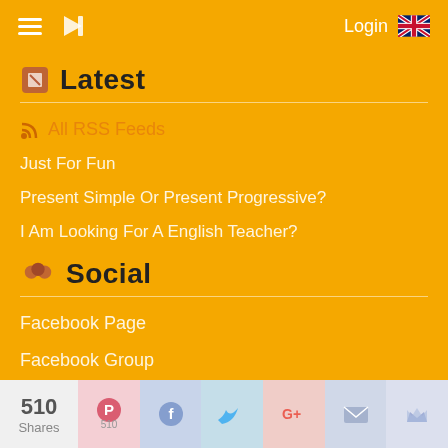Login
Latest
All RSS Feeds
Just For Fun
Present Simple Or Present Progressive?
I Am Looking For A English Teacher?
Social
Facebook Page
Facebook Group
Instagram
Twitter
YouTube
510 Shares